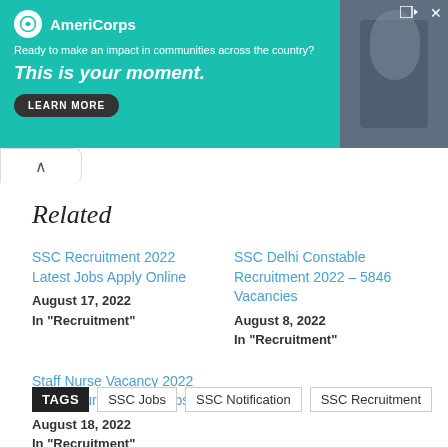[Figure (screenshot): AmeriCorps advertisement banner. Teal/green background with AmeriCorps logo and text: 'Ready to make an impact in communities across the country? This is your moment.' with a LEARN MORE button. Photo of a person on the right side.]
Related
SSC Recruitment 2022 Latest Jobs Apply Online
August 17, 2022
In "Recruitment"
SSC Delhi Constable Recruitment 2022 – 5846 Vacancies
August 8, 2022
In "Recruitment"
Staff Nurse Vacancy 2022 Latest Nursing Govt Jobs
August 18, 2022
In "Recruitment"
TAGS  SSC Jobs  SSC Notification  SSC Recruitment